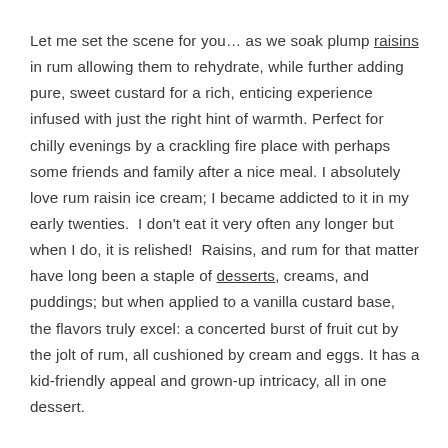Let me set the scene for you… as we soak plump raisins in rum allowing them to rehydrate, while further adding pure, sweet custard for a rich, enticing experience infused with just the right hint of warmth. Perfect for chilly evenings by a crackling fire place with perhaps some friends and family after a nice meal. I absolutely love rum raisin ice cream; I became addicted to it in my early twenties.  I don't eat it very often any longer but when I do, it is relished!  Raisins, and rum for that matter have long been a staple of desserts, creams, and puddings; but when applied to a vanilla custard base, the flavors truly excel: a concerted burst of fruit cut by the jolt of rum, all cushioned by cream and eggs. It has a kid-friendly appeal and grown-up intricacy, all in one dessert.